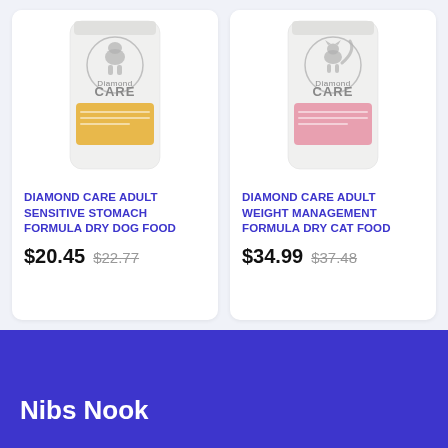[Figure (photo): Diamond Care Adult Sensitive Stomach Formula Dry Dog Food bag — white bag with yellow label panel, dog illustration on front, circular CARE logo]
DIAMOND CARE ADULT SENSITIVE STOMACH FORMULA DRY DOG FOOD
$20.45  $22.77
[Figure (photo): Diamond Care Adult Weight Management Formula Dry Cat Food bag — white bag with pink label panel, cat illustration on front, circular CARE logo]
DIAMOND CARE ADULT WEIGHT MANAGEMENT FORMULA DRY CAT FOOD
$34.99  $37.48
Nibs Nook